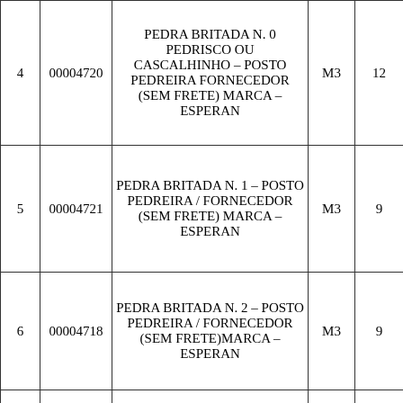| # | Code | Description | Unit | Value |
| --- | --- | --- | --- | --- |
| 4 | 00004720 | PEDRA BRITADA N. 0 PEDRISCO OU CASCALHINHO – POSTO PEDREIRA FORNECEDOR (SEM FRETE) MARCA – ESPERAN | M3 | 12... |
| 5 | 00004721 | PEDRA BRITADA N. 1 – POSTO PEDREIRA / FORNECEDOR (SEM FRETE) MARCA – ESPERAN | M3 | 9... |
| 6 | 00004718 | PEDRA BRITADA N. 2 – POSTO PEDREIRA / FORNECEDOR (SEM FRETE)MARCA – ESPERAN | M3 | 9... |
| 7 | 00004722 | PEDRA BRITADA N. 3 – POSTO PEDREIRA / FORNECEDOR (SEM... | M4 | 9... |